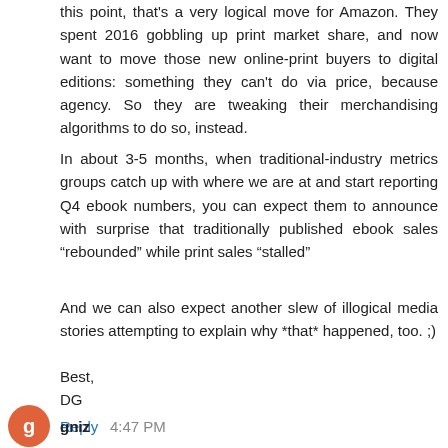this point, that's a very logical move for Amazon. They spent 2016 gobbling up print market share, and now want to move those new online-print buyers to digital editions: something they can't do via price, because agency. So they are tweaking their merchandising algorithms to do so, instead.
In about 3-5 months, when traditional-industry metrics groups catch up with where we are at and start reporting Q4 ebook numbers, you can expect them to announce with surprise that traditionally published ebook sales “rebounded” while print sales “stalled”
And we can also expect another slew of illogical media stories attempting to explain why *that* happened, too. ;)
Best,
DG
Reply
gniz 4:47 PM